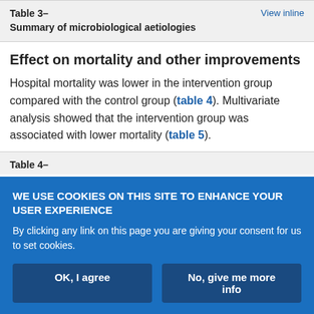Table 3–
Summary of microbiological aetiologies
Effect on mortality and other improvements
Hospital mortality was lower in the intervention group compared with the control group (table 4). Multivariate analysis showed that the intervention group was associated with lower mortality (table 5).
Table 4–
WE USE COOKIES ON THIS SITE TO ENHANCE YOUR USER EXPERIENCE
By clicking any link on this page you are giving your consent for us to set cookies.